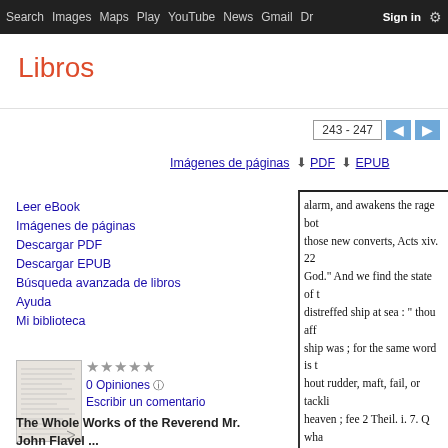Search  Images  Maps  Play  YouTube  News  Gmail  Drive  More  Sign in  ⚙
Libros
243 - 247
Imágenes de páginas   ⬇ PDF   ⬇ EPUB
Leer eBook
Imágenes de páginas
Descargar PDF
Descargar EPUB
Búsqueda avanzada de libros
Ayuda
Mi biblioteca
[Figure (illustration): Book cover thumbnail for The Whole Works of the Reverend Mr. John Flavel]
★★★★★
0 Opiniones ⓘ
Escribir un comentario
The Whole Works of the Reverend Mr. John Flavel ...
alarm, and awakens the rage both of those new converts, Acts xiv. 22. God." And we find the state of the distreffed ship at sea : " thou affl- ship was ; for the same word is t- hout rudder, maft, fail, or tacklin- heaven ; fee 2 Theil. i. 7. Q what catalogues of experiences do th- rials, and marvellous preservatio- nothing to those within them; fro- Besides their own, there comes o- and brim, yea, often overflow th- REFLECTION : Hence should th- roubles art thou lanched forth! a-